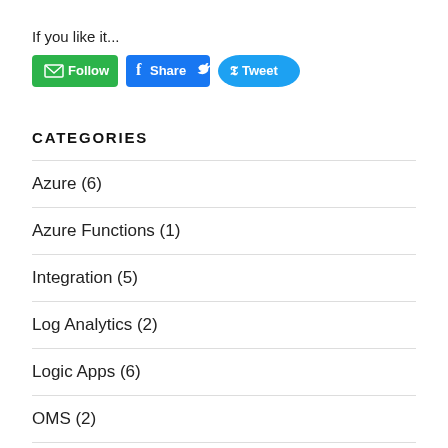If you like it...
[Figure (other): Social sharing buttons: Follow (green), Share (Facebook blue), Tweet (Twitter blue)]
CATEGORIES
Azure (6)
Azure Functions (1)
Integration (5)
Log Analytics (2)
Logic Apps (6)
OMS (2)
PowerShell (3)